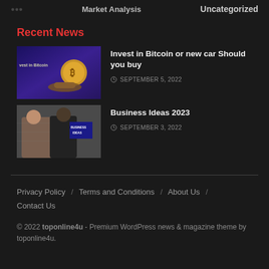Market Analysis   Uncategorized
Recent News
[Figure (photo): Thumbnail image for Bitcoin article showing hands holding a coin with purple/blue background and text 'Invest in Bitcoin']
Invest in Bitcoin or new car Should you buy
SEPTEMBER 5, 2022
[Figure (photo): Thumbnail image for Business Ideas article showing two people in business attire with a sign reading 'BUSINESS IDEAS']
Business Ideas 2023
SEPTEMBER 3, 2022
Privacy Policy / Terms and Conditions / About Us / Contact Us
© 2022 toponline4u - Premium WordPress news & magazine theme by toponline4u.